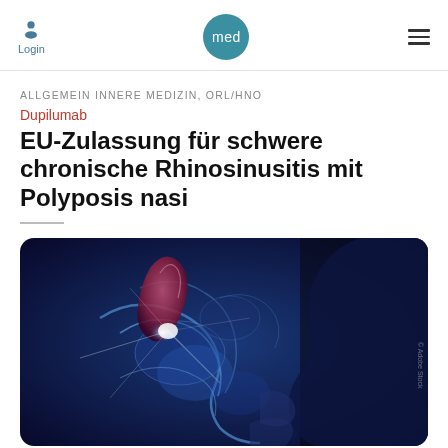Login | med | ≡
ALLGEMEIN INNERE MEDIZIN, ORL/HNO
Dupilumab
EU-Zulassung für schwere chronische Rhinosinusitis mit Polyposis nasi
[Figure (illustration): Medical 3D illustration of a human nasal anatomy cross-section with glowing blue tones showing sinuses and nasal passages, with a reddish polyp visible.]